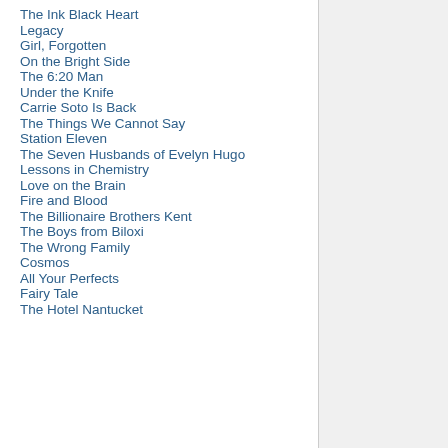The Ink Black Heart
Legacy
Girl, Forgotten
On the Bright Side
The 6:20 Man
Under the Knife
Carrie Soto Is Back
The Things We Cannot Say
Station Eleven
The Seven Husbands of Evelyn Hugo
Lessons in Chemistry
Love on the Brain
Fire and Blood
The Billionaire Brothers Kent
The Boys from Biloxi
The Wrong Family
Cosmos
All Your Perfects
Fairy Tale
The Hotel Nantucket